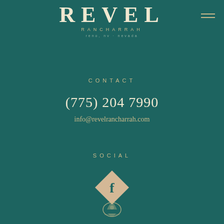REVEL RANCHARRAH
CONTACT
(775) 204 7990
info@revelrancharrah.com
SOCIAL
[Figure (logo): Facebook social media icon in a gold diamond/rhombus shape]
[Figure (logo): Revel Rancharrah decorative bottom logo mark]